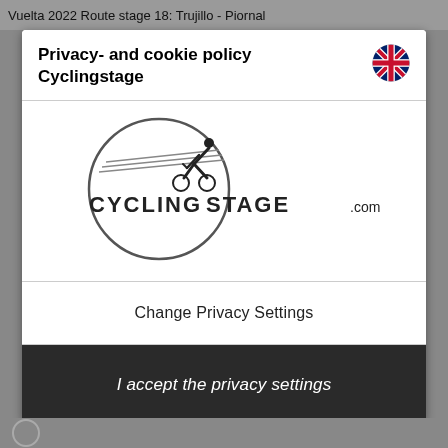Vuelta 2022 Route stage 18: Trujillo - Piornal
Privacy- and cookie policy Cyclingstage
[Figure (logo): Cycling Stage .com logo: a circle with a cyclist silhouette at top and horizontal speed lines, with text CYCLING STAGE.com inside and around the circle]
Change Privacy Settings
I accept the privacy settings